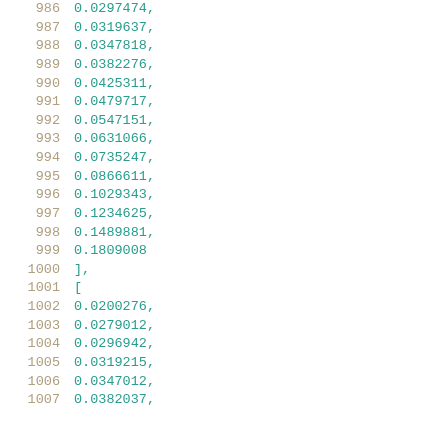986    0.0297474,
987    0.0319637,
988    0.0347818,
989    0.0382276,
990    0.0425311,
991    0.0479717,
992    0.0547151,
993    0.0631066,
994    0.0735247,
995    0.0866611,
996    0.1029343,
997    0.1234625,
998    0.1489881,
999    0.1809008
1000   ],
1001   [
1002   0.0200276,
1003   0.0279012,
1004   0.0296942,
1005   0.0319215,
1006   0.0347012,
1007   0.0382037